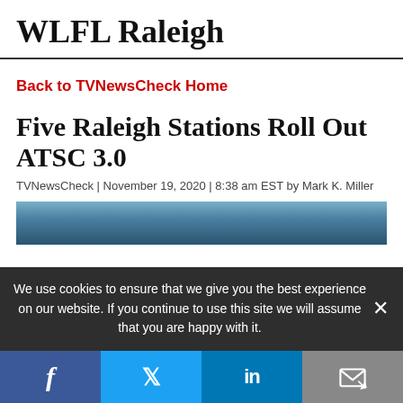WLFL Raleigh
Back to TVNewsCheck Home
Five Raleigh Stations Roll Out ATSC 3.0
TVNewsCheck | November 19, 2020 | 8:38 am EST by Mark K. Miller
[Figure (photo): Partial view of a broadcast-related image with blue/steel gradient background]
We use cookies to ensure that we give you the best experience on our website. If you continue to use this site we will assume that you are happy with it.
Social sharing bar with Facebook, Twitter, LinkedIn, and Email buttons